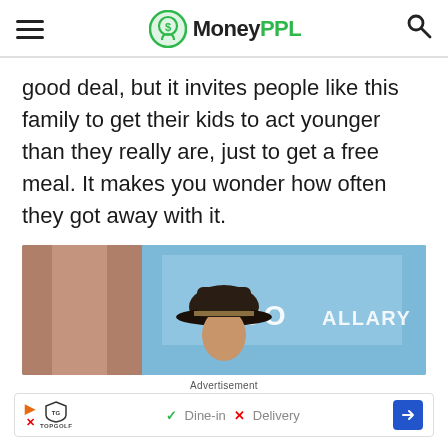MoneyPPL
good deal, but it invites people like this family to get their kids to act younger than they really are, just to get a free meal. It makes you wonder how often they got away with it.
[Figure (photo): Photo of a person wearing a black cowboy hat standing in front of a sign that reads 'SHOOT GALLERY']
Advertisement
[Figure (screenshot): Advertisement banner for Topgolf showing Dine-in and Delivery options with a navigation arrow]